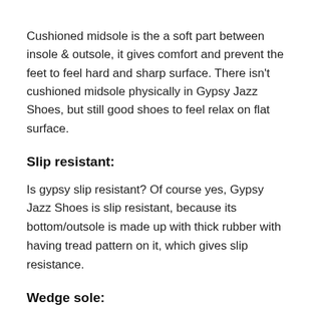Cushioned midsole is the a soft part between insole & outsole, it gives comfort and prevent the feet to feel hard and sharp surface. There isn't cushioned midsole physically in Gypsy Jazz Shoes, but still good shoes to feel relax on flat surface.
Slip resistant:
Is gypsy slip resistant? Of course yes, Gypsy Jazz Shoes is slip resistant, because its bottom/outsole is made up with thick rubber with having tread pattern on it, which gives slip resistance.
Wedge sole:
Gypsy jazz has wedge sole, so it has more